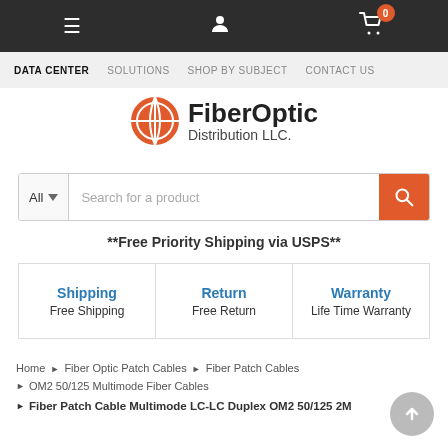Navigation bar with menu, user, and cart icons
DATA CENTER  SOLUTIONS  SHOP BY SUBJECT  CONTACT US
[Figure (logo): FiberOptic Distribution LLC. logo with orange globe icon]
Search for a product
**Free Priority Shipping via USPS**
| Shipping | Return | Warranty |
| --- | --- | --- |
| Free Shipping | Free Return | Life Time Warranty |
Home ▸ Fiber Optic Patch Cables ▸ Fiber Patch Cables
OM2 50/125 Multimode Fiber Cables
Fiber Patch Cable Multimode LC-LC Duplex OM2 50/125 2M